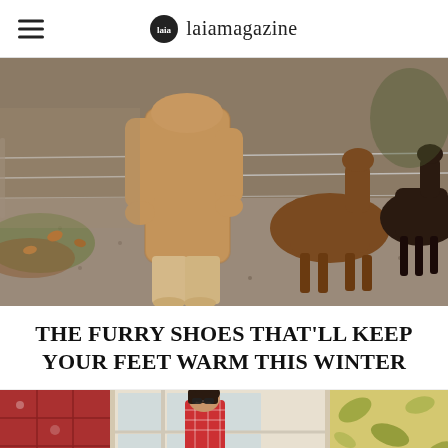laiamagazine
[Figure (photo): Person wearing a long tan/camel faux fur coat with wide-leg trousers and boots, standing near horses in a paddock with gravel ground and autumn leaves]
THE FURRY SHOES THAT'LL KEEP YOUR FEET WARM THIS WINTER
[Figure (photo): Woman in sunglasses wearing a red and white patterned outfit, standing in front of French doors with garden foliage visible]